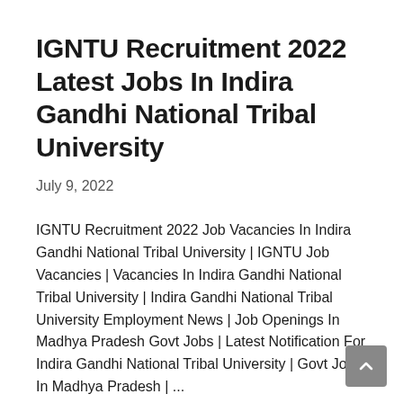IGNTU Recruitment 2022 Latest Jobs In Indira Gandhi National Tribal University
July 9, 2022
IGNTU Recruitment 2022 Job Vacancies In Indira Gandhi National Tribal University | IGNTU Job Vacancies | Vacancies In Indira Gandhi National Tribal University | Indira Gandhi National Tribal University Employment News | Job Openings In Madhya Pradesh Govt Jobs | Latest Notification For Indira Gandhi National Tribal University | Govt Jobs In Madhya Pradesh | ...